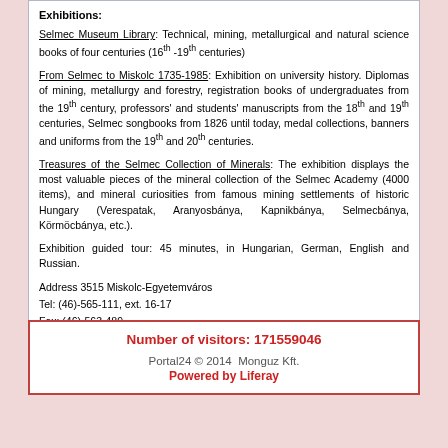Exhibitions:
Selmec Museum Library: Technical, mining, metallurgical and natural science books of four centuries (16th -19th centuries)
From Selmec to Miskolc 1735-1985: Exhibition on university history. Diplomas of mining, metallurgy and forestry, registration books of undergraduates from the 19th century, professors' and students' manuscripts from the 18th and 19th centuries, Selmec songbooks from 1826 until today, medal collections, banners and uniforms from the 19th and 20th centuries.
Treasures of the Selmec Collection of Minerals: The exhibition displays the most valuable pieces of the mineral collection of the Selmec Academy (4000 items), and mineral curiosities from famous mining settlements of historic Hungary (Verespatak, Aranyosbánya, Kapnikbánya, Selmecbánya, Körmöcbánya, etc.).
Exhibition guided tour: 45 minutes, in Hungarian, German, English and Russian.
Address 3515 Miskolc-Egyetemváros
Tel: (46)-565-111, ext. 16-17
Fax: (46)-563-489
E-mail: konloss@uni-miskolc.hu
Number of visitors: 171559046
Portal24 © 2014  Monguz Kft.
Powered by Liferay